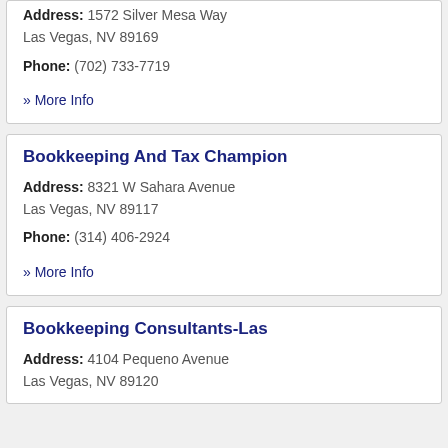Address: 1572 Silver Mesa Way Las Vegas, NV 89169
Phone: (702) 733-7719
» More Info
Bookkeeping And Tax Champion
Address: 8321 W Sahara Avenue Las Vegas, NV 89117
Phone: (314) 406-2924
» More Info
Bookkeeping Consultants-Las
Address: 4104 Pequeno Avenue Las Vegas, NV 89120